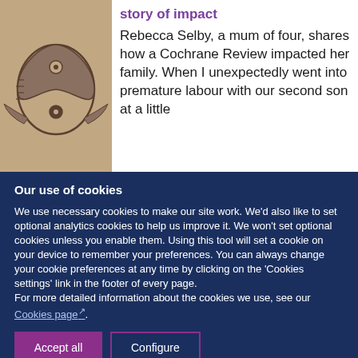[Figure (photo): Close-up photo of a tattoo on skin showing a yin-yang style design with decorative elements]
story of impact
Rebecca Selby, a mum of four, shares how a Cochrane Review impacted her family. When I unexpectedly went into premature labour with our second son at a little
Our use of cookies
We use necessary cookies to make our site work. We'd also like to set optional analytics cookies to help us improve it. We won't set optional cookies unless you enable them. Using this tool will set a cookie on your device to remember your preferences. You can always change your cookie preferences at any time by clicking on the 'Cookies settings' link in the footer of every page.
For more detailed information about the cookies we use, see our Cookies page.
Accept all
Configure